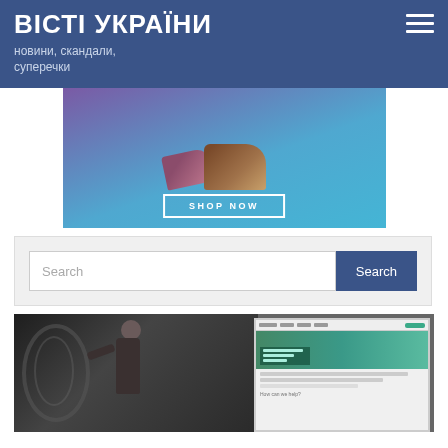ВІСТІ УКРАЇНИ
новини, скандали, суперечки
[Figure (photo): Advertisement banner with shoes and 'SHOP NOW' button on blue gradient background]
[Figure (screenshot): Search bar with text input and Search button]
[Figure (photo): Photo of man working on bicycle with a website mockup overlay on the right side]